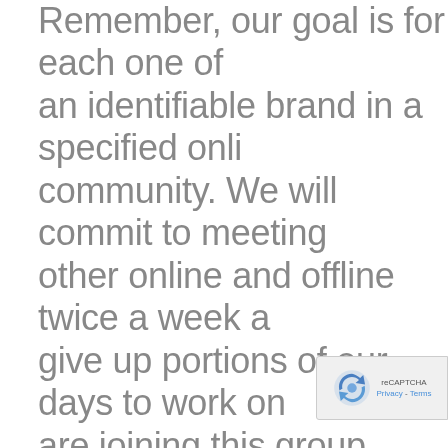Remember, our goal is for each one of an identifiable brand in a specified online community. We will commit to meeting other online and offline twice a week and give up portions of our days to work on are joining this group because we realize value to be gained by working together minded people towards this common goal finally, that the $500 investment that you this is really not that much when you consider the knowledge you'll have gained the...
[Figure (other): reCAPTCHA badge with logo and Privacy - Terms text]